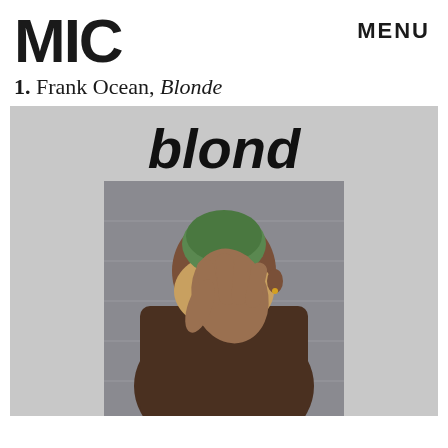MIC
MENU
1. Frank Ocean, Blonde
[Figure (illustration): Album cover for Frank Ocean's 'blonde' showing a person with green-tinted hair covering their face with their hand, shirtless, on a light grey background. The word 'blond' appears in large bold italic black text above the photo.]